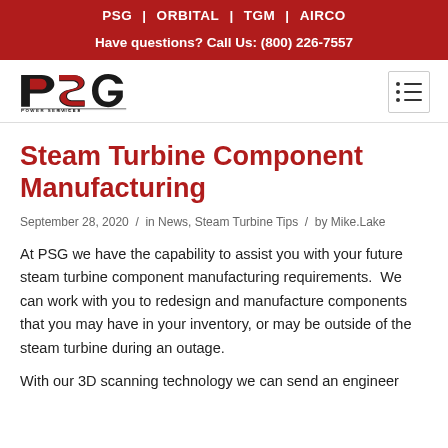PSG | ORBITAL | TGM | AIRCO
Have questions? Call Us: (800) 226-7557
[Figure (logo): PSG Power Services Group logo — stylized PSG letters in dark red/black with 'POWER SERVICES GROUP' text below]
Steam Turbine Component Manufacturing
September 28, 2020 / in News, Steam Turbine Tips / by Mike.Lake
At PSG we have the capability to assist you with your future steam turbine component manufacturing requirements.  We can work with you to redesign and manufacture components that you may have in your inventory, or may be outside of the steam turbine during an outage.
With our 3D scanning technology we can send an engineer